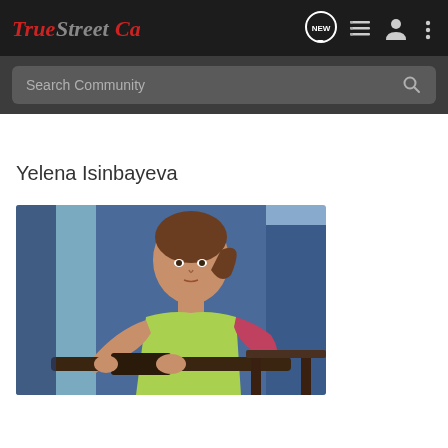True Street Cards — NEW — navigation bar with logo, new, list, profile, menu icons
Search Community
Yelena Isinbayeva
[Figure (photo): Photograph of Yelena Isinbayeva, a female pole vaulter with brown hair in a ponytail, wearing a light green athletic top, holding a pole vault bar, with a dark blue background]